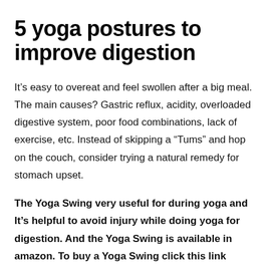5 yoga postures to improve digestion
It’s easy to overeat and feel swollen after a big meal. The main causes? Gastric reflux, acidity, overloaded digestive system, poor food combinations, lack of exercise, etc. Instead of skipping a “Tums” and hop on the couch, consider trying a natural remedy for stomach upset.
The Yoga Swing very useful for during yoga and It’s helpful to avoid injury while doing yoga for digestion. And the Yoga Swing is available in amazon. To buy a Yoga Swing click this link